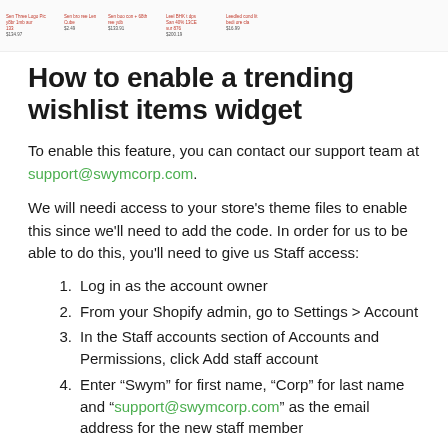Header banner with product thumbnails and prices
How to enable a trending wishlist items widget
To enable this feature, you can contact our support team at support@swymcorp.com.
We will needi access to your store’s theme files to enable this since we’ll need to add the code. In order for us to be able to do this, you’ll need to give us Staff access:
Log in as the account owner
From your Shopify admin, go to Settings > Account
In the Staff accounts section of Accounts and Permissions, click Add staff account
Enter “Swym” for first name, “Corp” for last name and “support@swymcorp.com” as the email address for the new staff member
Click “Send invite”